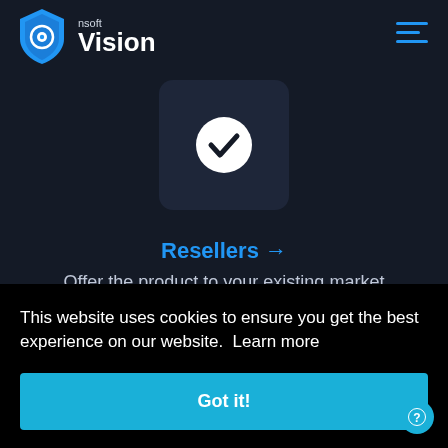nsoft Vision
[Figure (logo): nsoft Vision logo: blue shield with eye icon, text 'nsoft' above 'Vision' in white]
[Figure (illustration): Dark rounded square card with a white circle checkmark icon in the center]
Resellers →
Offer the product to your existing market
This website uses cookies to ensure you get the best experience on our website.  Learn more
Got it!